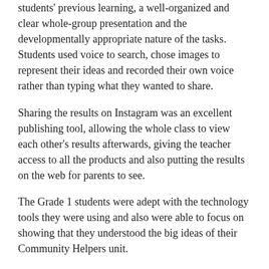students' previous learning, a well-organized and clear whole-group presentation and the developmentally appropriate nature of the tasks. Students used voice to search, chose images to represent their ideas and recorded their own voice rather than typing what they wanted to share.
Sharing the results on Instagram was an excellent publishing tool, allowing the whole class to view each other's results afterwards, giving the teacher access to all the products and also putting the results on the web for parents to see.
The Grade 1 students were adept with the technology tools they were using and also were able to focus on showing that they understood the big ideas of their Community Helpers unit.
Thanks again, Mr. Walmsley and Ms. Dema. Well done!